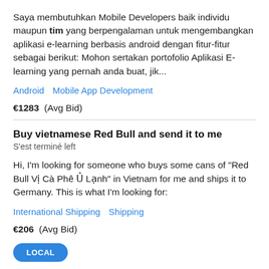Saya membutuhkan Mobile Developers baik individu maupun tim yang berpengalaman untuk mengembangkan aplikasi e-learning berbasis android dengan fitur-fitur sebagai berikut: Mohon sertakan portofolio Aplikasi E-learning yang pernah anda buat, jik...
Android   Mobile App Development
€1283  (Avg Bid)
Buy vietnamese Red Bull and send it to me
S&#039;est terminé left
Hi, I'm looking for someone who buys some cans of "Red Bull Vị Cà Phê Ủ Lạnh" in Vietnam for me and ships it to Germany. This is what I'm looking for:
International Shipping   Shipping
€206  (Avg Bid)
LOCAL